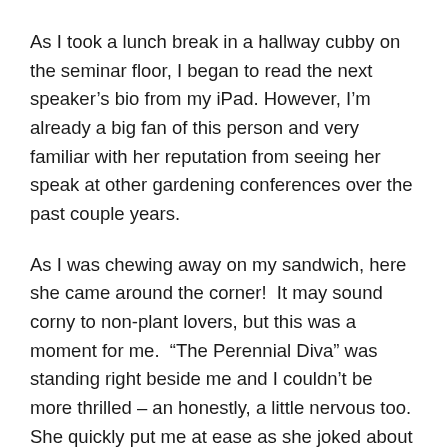As I took a lunch break in a hallway cubby on the seminar floor, I began to read the next speaker's bio from my iPad. However, I'm already a big fan of this person and very familiar with her reputation from seeing her speak at other gardening conferences over the past couple years.
As I was chewing away on my sandwich, here she came around the corner!  It may sound corny to non-plant lovers, but this was a moment for me.  “The Perennial Diva” was standing right beside me and I couldn’t be more thrilled – an honestly, a little nervous too.  She quickly put me at ease as she joked about how I can mention she has appeared on QVC-TV when I introduce her because people seem to like that.  Her name is Stephanie Cohen, and to me, she is a Big Gun in the world of horticulture.